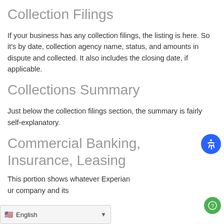Collection Filings
If your business has any collection filings, the listing is here. So it's by date, collection agency name, status, and amounts in dispute and collected. It also includes the closing date, if applicable.
Collections Summary
Just below the collection filings section, the summary is fairly self-explanatory.
Commercial Banking, Insurance, Leasing
This portion shows whatever Experian ur company and its